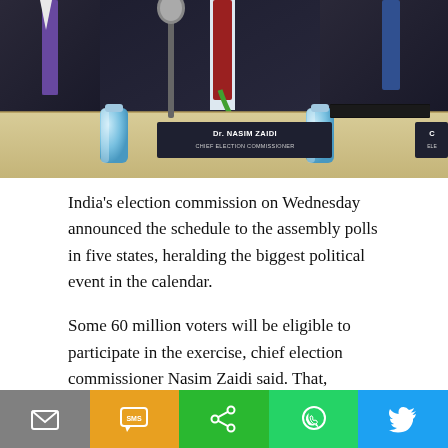[Figure (photo): Conference room scene showing officials in dark suits seated at a table. A nameplate reads 'Dr. Nasim Zaidi, Chief Election Commissioner'. Water bottles, microphone, and a folder are visible on the table.]
India's election commission on Wednesday announced the schedule to the assembly polls in five states, heralding the biggest political event in the calendar.
Some 60 million voters will be eligible to participate in the exercise, chief election commissioner Nasim Zaidi said. That, however, is the number of voters; by the number of population of these states, a substantial segment of the world population is involved here.
If the five states – Uttar Pradesh, Punjab, Uttarakhand, Goa